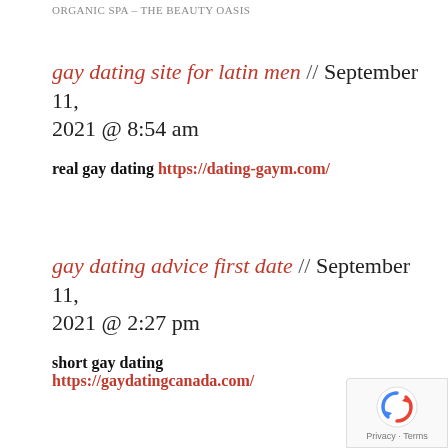ORGANIC SPA – THE BEAUTY OASIS
gay dating site for latin men // September 11, 2021 @ 8:54 am
real gay dating https://dating-gaym.com/
gay dating advice first date // September 11, 2021 @ 2:27 pm
short gay dating https://gaydatingcanada.com/